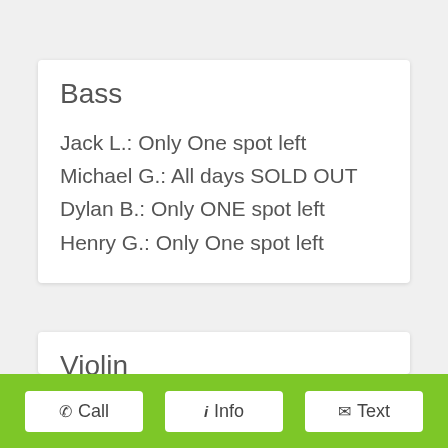Bass
Jack L.: Only One spot left
Michael G.: All days SOLD OUT
Dylan B.: Only ONE spot left
Henry G.: Only One spot left
Violin
Call  Info  Text